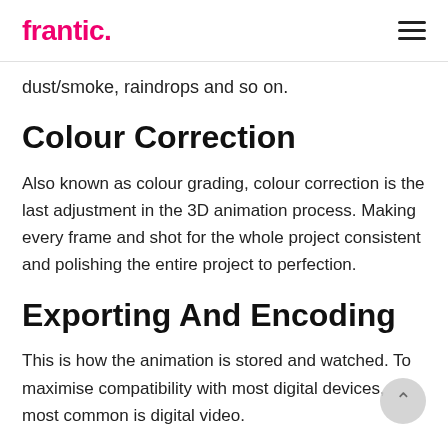frantic.
dust/smoke, raindrops and so on.
Colour Correction
Also known as colour grading, colour correction is the last adjustment in the 3D animation process. Making every frame and shot for the whole project consistent and polishing the entire project to perfection.
Exporting And Encoding
This is how the animation is stored and watched. To maximise compatibility with most digital devices, most common is digital video.